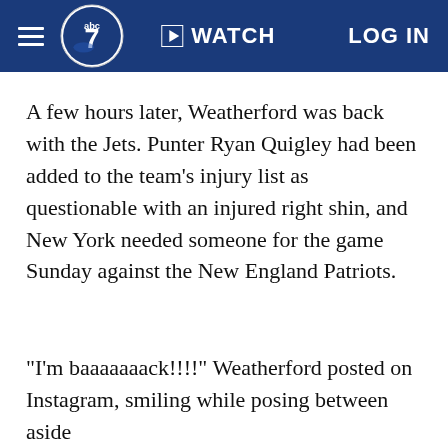abc7 WATCH LOG IN
A few hours later, Weatherford was back with the Jets. Punter Ryan Quigley had been added to the team's injury list as questionable with an injured right shin, and New York needed someone for the game Sunday against the New England Patriots.
"I'm baaaaaaack!!!!" Weatherford posted on Instagram, smiling while posing between aside